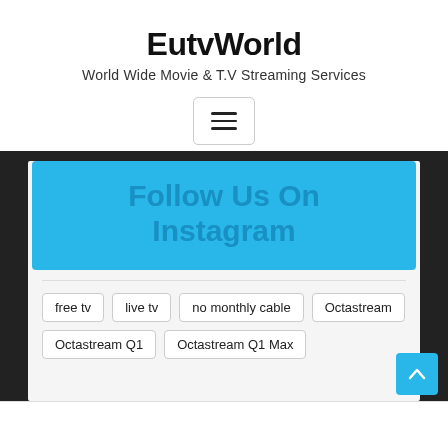EutvWorld
World Wide Movie & T.V Streaming Services
[Figure (other): Hamburger menu button icon with three horizontal lines inside a rounded rectangle border]
[Figure (other): Light blue banner with text 'Follow Us On Instagram' in bold darker blue]
free tv
live tv
no monthly cable
Octastream
Octastream Q1
Octastream Q1 Max